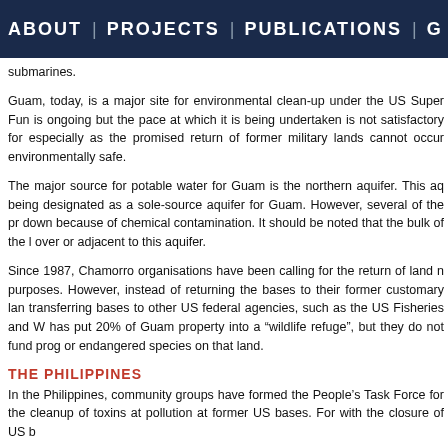ABOUT | PROJECTS | PUBLICATIONS | G
submarines.
Guam, today, is a major site for environmental clean-up under the US Super Fun is ongoing but the pace at which it is being undertaken is not satisfactory for especially as the promised return of former military lands cannot occur environmentally safe.
The major source for potable water for Guam is the northern aquifer. This aq being designated as a sole-source aquifer for Guam. However, several of the pr down because of chemical contamination. It should be noted that the bulk of the l over or adjacent to this aquifer.
Since 1987, Chamorro organisations have been calling for the return of land n purposes. However, instead of returning the bases to their former customary lan transferring bases to other US federal agencies, such as the US Fisheries and W has put 20% of Guam property into a “wildlife refuge”, but they do not fund prog or endangered species on that land.
THE PHILIPPINES
In the Philippines, community groups have formed the People’s Task Force for the cleanup of toxins at pollution at former US bases. For with the closure of US b